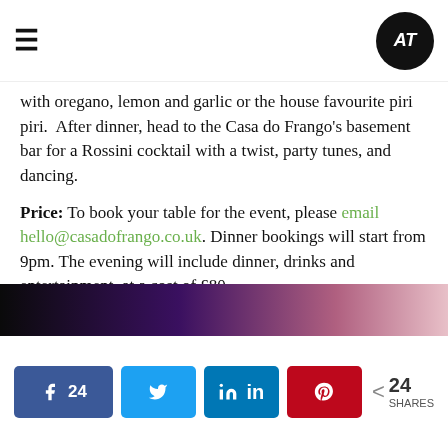AT logo and navigation menu
with oregano, lemon and garlic or the house favourite piri piri.  After dinner, head to the Casa do Frango's basement bar for a Rossini cocktail with a twist, party tunes, and dancing.
Price: To book your table for the event, please email hello@casadofrango.co.uk. Dinner bookings will start from 9pm. The evening will include dinner, drinks and entertainment, at a cost of £80.
Where: 1st floor, 32 Southwark St, London SE1 1TU
4. For a London First: South West 4 at 02 Brixton Academy
[Figure (photo): Dark gradient strip from black through purple to pink/rose, resembling a concert or event promotional image]
Social share buttons: Facebook 24, Twitter, LinkedIn, Pinterest. < 24 SHARES